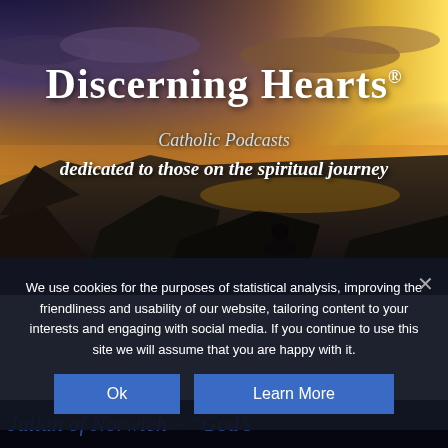[Figure (photo): Scenic sunset/sunrise landscape with silhouetted mountains on the left, glowing orange and yellow sky on the right, and a lone person sitting on a hilltop or cliff edge in the center-right foreground, overlooking a vast landscape.]
Discerning Hearts®
Catholic Podcasts
dedicated to those on the spiritual journey
We use cookies for the purposes of statistical analysis, improving the friendliness and usability of our website, tailoring content to your interests and engaging with social media. If you continue to use this site we will assume that you are happy with it.
Ok
Learn More
Julian of Norwich – "God's